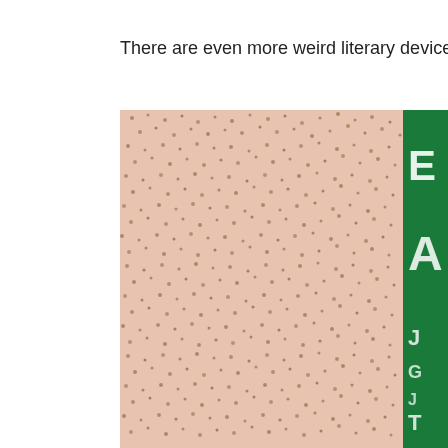There are even more weird literary devices used in this
[Figure (photo): Close-up photograph of a textured beige/salmon-colored fabric or material with small dark speckled dots throughout. On the right edge, a partial view of a green book cover or sign is visible with white lettering, though the text is mostly cut off.]